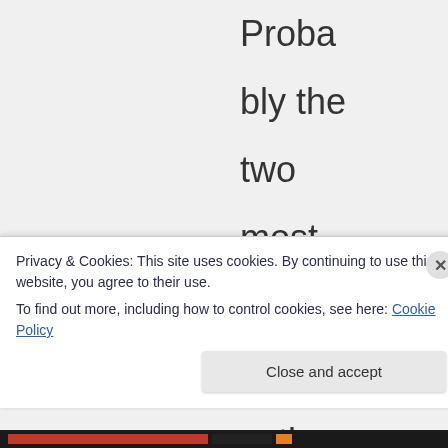Probably the two most common bolt action rifles are the Ruger
Privacy & Cookies: This site uses cookies. By continuing to use this website, you agree to their use.
To find out more, including how to control cookies, see here: Cookie Policy
Close and accept